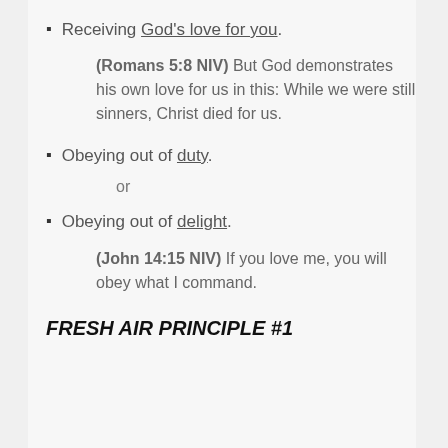Receiving God's love for you.
(Romans 5:8 NIV) But God demonstrates his own love for us in this: While we were still sinners, Christ died for us.
Obeying out of duty.
or
Obeying out of delight.
(John 14:15 NIV) If you love me, you will obey what I command.
FRESH AIR PRINCIPLE #1